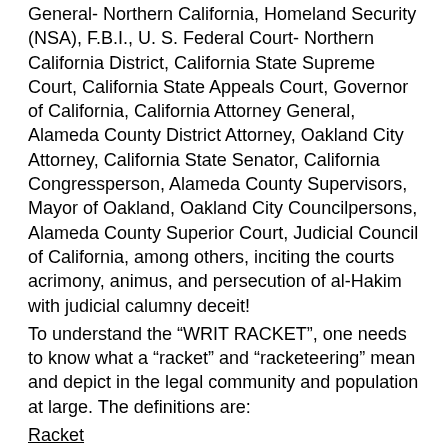General- Northern California, Homeland Security (NSA), F.B.I., U. S. Federal Court- Northern California District, California State Supreme Court, California State Appeals Court, Governor of California, California Attorney General, Alameda County District Attorney, Oakland City Attorney, California State Senator, California Congressperson, Alameda County Supervisors, Mayor of Oakland, Oakland City Councilpersons, Alameda County Superior Court, Judicial Council of California, among others, inciting the courts acrimony, animus, and persecution of al-Hakim with judicial calumny deceit!
To understand the “WRIT RACKET”, one needs to know what a “racket” and “racketeering” mean and depict in the legal community and population at large. The definitions are:
Racket
“A racket is a planned or organized criminal act, usually in which the criminal act is a form of business or a way to earn illegal or extorted money regularly or briefly